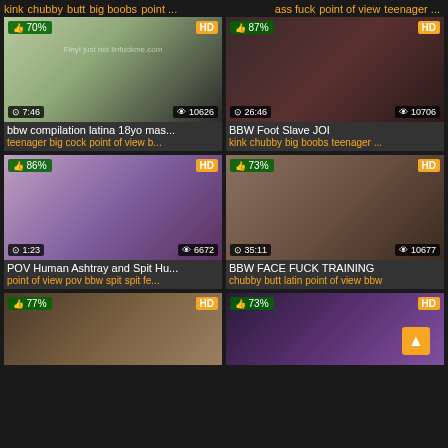kink chubby butt big boobs point ...
ass fuck point of view teenager ...
[Figure (screenshot): Video thumbnail 1: 70% like, 7:46 duration, 10626 views, HD]
bbw compilation latina 18yo mas...
teenager big cock point of view b...
[Figure (screenshot): Video thumbnail 2: 87% like, 26:46 duration, 10706 views, HD]
BBW Foot Slave JOI
kink chubby big boobs teenager ...
[Figure (screenshot): Video thumbnail 3: 86% like, 1:23 duration, 6672 views, HD]
POV Human Ashtray and Spit Hu...
point of view pov bbw spit spit fe...
[Figure (screenshot): Video thumbnail 4: 73% like, 35:11 duration, 10677 views, HD]
BBW FACE FUCK TRAINING
chubby butt latin point of view bbw
[Figure (screenshot): Video thumbnail 5: 77% like, HD]
[Figure (screenshot): Video thumbnail 6: 73% like, HD]